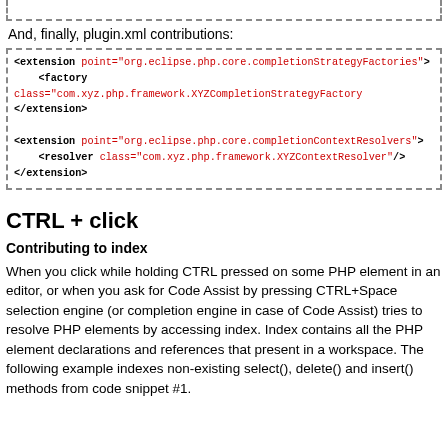[Figure (screenshot): Top partial code box (cut off at top) with dashed border]
And, finally, plugin.xml contributions:
[Figure (screenshot): Code box with dashed border showing XML extensions for completionStrategyFactories and completionContextResolvers]
CTRL + click
Contributing to index
When you click while holding CTRL pressed on some PHP element in an editor, or when you ask for Code Assist by pressing CTRL+Space selection engine (or completion engine in case of Code Assist) tries to resolve PHP elements by accessing index. Index contains all the PHP element declarations and references that present in a workspace. The following example indexes non-existing select(), delete() and insert() methods from code snippet #1.